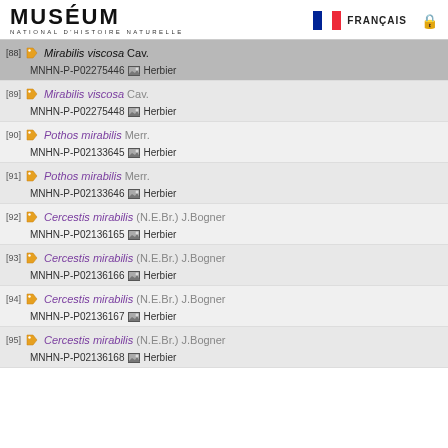MUSÉUM NATIONAL D'HISTOIRE NATURELLE — FRANÇAIS
[88] Mirabilis viscosa Cav. — MNHN-P-P02275446 Herbier
[89] Mirabilis viscosa Cav. — MNHN-P-P02275448 Herbier
[90] Pothos mirabilis Merr. — MNHN-P-P02133645 Herbier
[91] Pothos mirabilis Merr. — MNHN-P-P02133646 Herbier
[92] Cercestis mirabilis (N.E.Br.) J.Bogner — MNHN-P-P02136165 Herbier
[93] Cercestis mirabilis (N.E.Br.) J.Bogner — MNHN-P-P02136166 Herbier
[94] Cercestis mirabilis (N.E.Br.) J.Bogner — MNHN-P-P02136167 Herbier
[95] Cercestis mirabilis (N.E.Br.) J.Bogner — MNHN-P-P02136168 Herbier